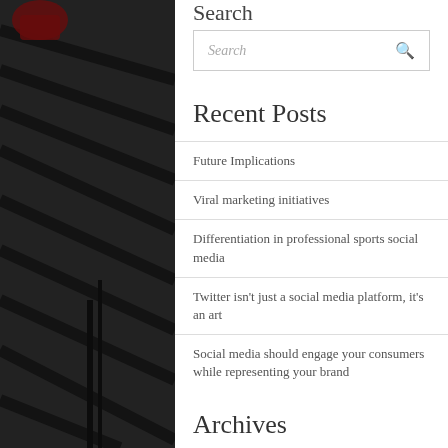Search
Search (input box with search icon)
Recent Posts
Future Implications
Viral marketing initiatives
Differentiation in professional sports social media
Twitter isn't just a social media platform, it's an art
Social media should engage your consumers while representing your brand
Archives
November 2017
September 2017
August 2017
[Figure (photo): Black and white photo of stadium bleachers/seating on left and right sides of the page, with people partially visible.]